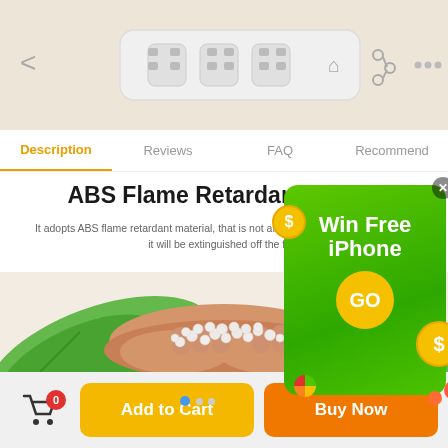[Figure (screenshot): Top portion of mobile e-commerce app showing a white power strip product with navigation arrows and icons]
Description | Reviews | FAQ | Recommend
ABS Flame Retardant Mate...
It adopts ABS flame retardant material, that is not afraid of fire. When lighter bur... it will be extinguished off the fire.
[Figure (photo): Hands cupping white plastic pellets (ABS material) with green leaves in background]
[Figure (infographic): Win Free iPhone popup advertisement in green with dollar coins and GO button]
Add to Cart
Buy Now